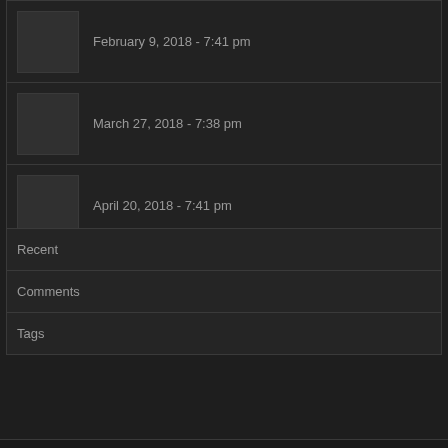February 9, 2018 - 7:41 pm
March 27, 2018 - 7:38 pm
April 20, 2018 - 7:41 pm
Recent
Comments
Tags